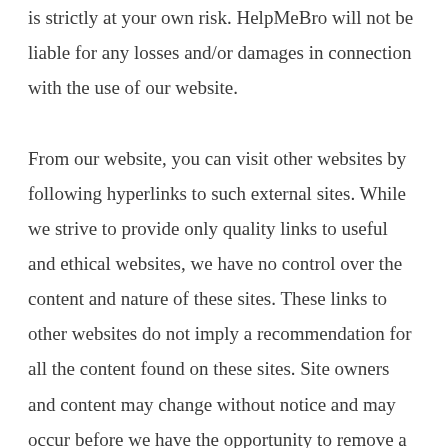is strictly at your own risk. HelpMeBro will not be liable for any losses and/or damages in connection with the use of our website.

From our website, you can visit other websites by following hyperlinks to such external sites. While we strive to provide only quality links to useful and ethical websites, we have no control over the content and nature of these sites. These links to other websites do not imply a recommendation for all the content found on these sites. Site owners and content may change without notice and may occur before we have the opportunity to remove a